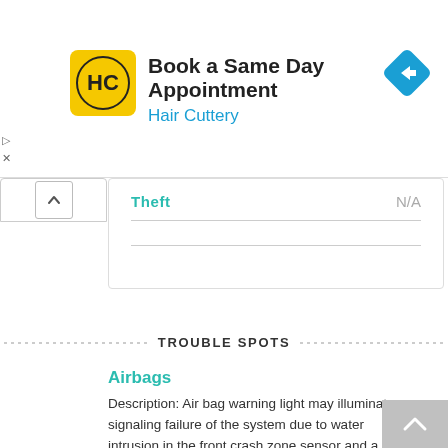[Figure (logo): Hair Cuttery advertisement banner with logo, text 'Book a Same Day Appointment' and 'Hair Cuttery', and blue diamond arrow icon]
| Theft | N/A |
| --- | --- |
TROUBLE SPOTS
Airbags
Description: Air bag warning light may illuminate signaling failure of the system due to water intrusion in the front crash zone sensor and a campaign was issued to vehicle owners in salt states. (2005-09)